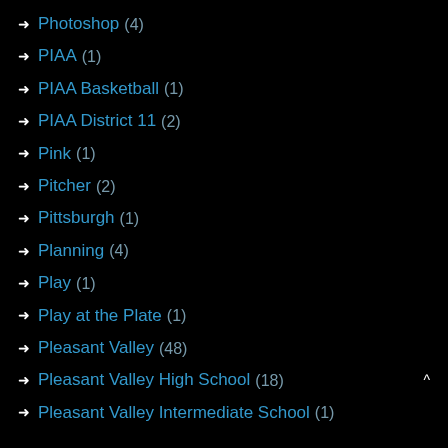Photoshop (4)
PIAA (1)
PIAA Basketball (1)
PIAA District 11 (2)
Pink (1)
Pitcher (2)
Pittsburgh (1)
Planning (4)
Play (1)
Play at the Plate (1)
Pleasant Valley (48)
Pleasant Valley High School (18)
Pleasant Valley Intermediate School (1)